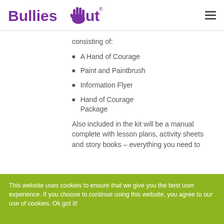[Figure (logo): BulliesOut logo with purple hand icon and registered trademark symbol]
consisting of:
A Hand of Courage
Paint and Paintbrush
Information Flyer
Hand of Courage Package
Also included in the kit will be a manual complete with lesson plans, activity sheets and story books – everything you need to
This website uses cookies to ensure that we give you the best user experience. If you choose to continue using this website, you agree to our use of cookies. Ok got it!